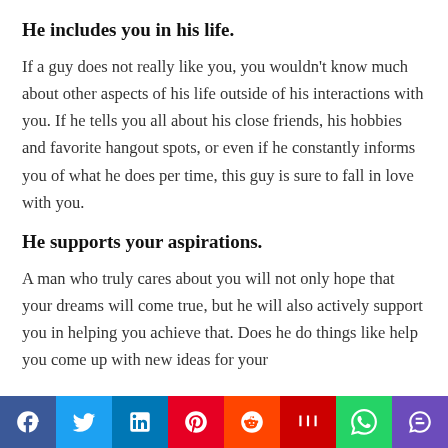He includes you in his life.
If a guy does not really like you, you wouldn’t know much about other aspects of his life outside of his interactions with you. If he tells you all about his close friends, his hobbies and favorite hangout spots, or even if he constantly informs you of what he does per time, this guy is sure to fall in love with you.
He supports your aspirations.
A man who truly cares about you will not only hope that your dreams will come true, but he will also actively support you in helping you achieve that. Does he do things like help you come up with new ideas for your